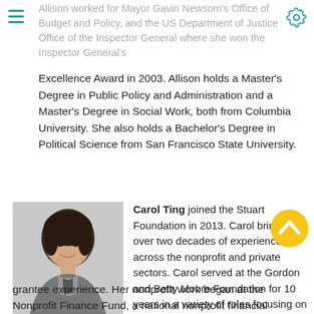Allison worked for Mayor Gavin Newsom's Office of Budget and Policy, and the US Department of Justice Office of the Inspector General where she won the Inspector General's Excellence Award in 2003.
Excellence Award in 2003. Allison holds a Master's Degree in Public Policy and Administration and a Master's Degree in Social Work, both from Columbia University. She also holds a Bachelor's Degree in Political Science from San Francisco State University.
[Figure (photo): Portrait photo of Carol Ting, a woman with short dark hair wearing a grey blazer, smiling at the camera.]
Carol Ting joined the Stuart Foundation in 2013. Carol brings over two decades of experience across the nonprofit and private sectors. Carol served at the Gordon and Betty Moore Foundation for 10 years in a variety of roles focusing on program finance and the grantee experience. Her nonprofit work began at the Nonprofit Finance Fund, a national nonprofit financial